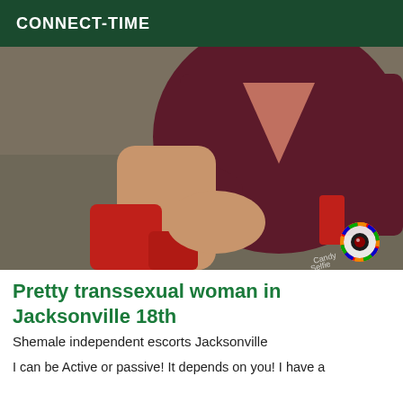CONNECT-TIME
[Figure (photo): Person wearing burgundy/dark red long-sleeve dress and red boots, photographed outdoors on gravel ground, with a camera selfie app watermark visible in the lower right corner.]
Pretty transsexual woman in Jacksonville 18th
Shemale independent escorts Jacksonville
I can be Active or passive! It depends on you! I have a